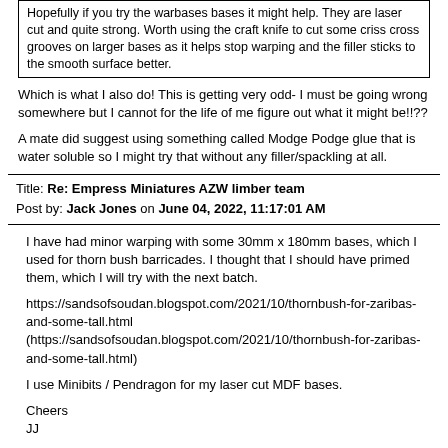Hopefully if you try the warbases bases it might help. They are laser cut and quite strong. Worth using the craft knife to cut some criss cross grooves on larger bases as it helps stop warping and the filler sticks to the smooth surface better.
Which is what I also do! This is getting very odd- I must be going wrong somewhere but I cannot for the life of me figure out what it might be!!??
A mate did suggest using something called Modge Podge glue that is water soluble so I might try that without any filler/spackling at all.
Title: Re: Empress Miniatures AZW limber team
Post by: Jack Jones on June 04, 2022, 11:17:01 AM
I have had minor warping with some 30mm x 180mm bases, which I used for thorn bush barricades. I thought that I should have primed them, which I will try with the next batch.
https://sandsofsoudan.blogspot.com/2021/10/thornbush-for-zaribas-and-some-tall.html (https://sandsofsoudan.blogspot.com/2021/10/thornbush-for-zaribas-and-some-tall.html)
I use Minibits / Pendragon for my laser cut MDF bases.
Cheers
JJ